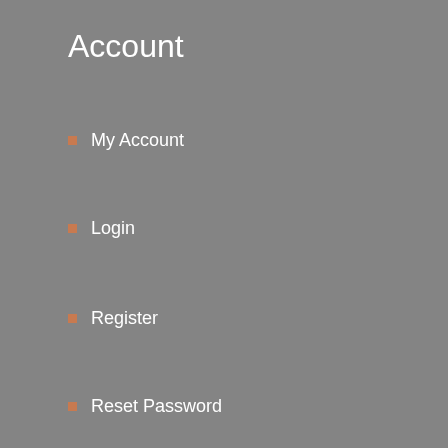Account
My Account
Login
Register
Reset Password
Member List
Address Location